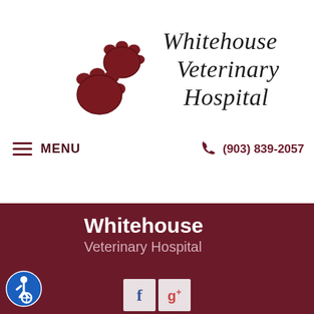[Figure (logo): Whitehouse Veterinary Hospital logo with two dark red paw prints and italic text reading 'Whitehouse Veterinary Hospital']
≡ MENU
(903) 839-2057
Whitehouse Veterinary Hospital
[Figure (illustration): Facebook 'f' social media button icon]
[Figure (illustration): Google+ 'g+' social media button icon]
[Figure (illustration): Blue accessibility/wheelchair icon circle badge]